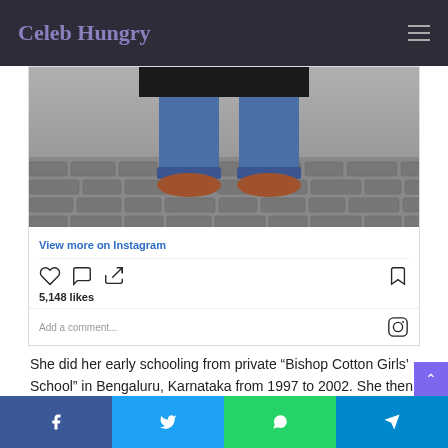Celeb Hungry
[Figure (screenshot): Instagram embed showing lower half of a person standing on cobblestone street wearing jeans and boots, with like/comment/share icons, 5,148 likes, and comment input field]
View more on Instagram
5,148 likes
Add a comment...
She did her early schooling from private “Bishop Cotton Girls’ School” in Bengaluru, Karnataka from 1997 to 2002. She then did her 10th standard to 12th
f  twitter  whatsapp  telegram